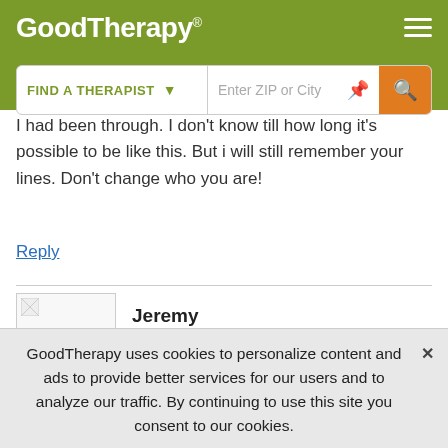GoodTherapy®
I had been through. I don't know till how long it's possible to be like this. But i will still remember your lines. Don't change who you are!
Reply
Jeremy
March 27th, 2019 at 6:46 PM
I am in a similar situation too. My wife and I have very frequent
GoodTherapy uses cookies to personalize content and ads to provide better services for our users and to analyze our traffic. By continuing to use this site you consent to our cookies.